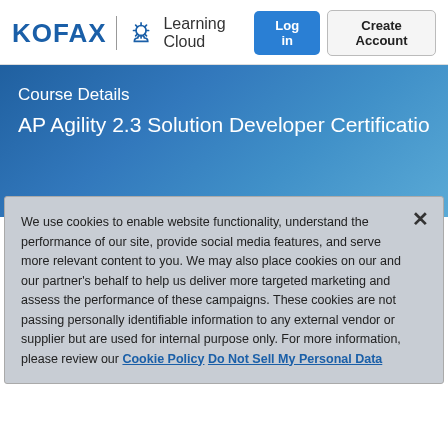[Figure (logo): Kofax Learning Cloud logo with sun/cloud icon]
Log in
Create Account
Course Details
AP Agility 2.3 Solution Developer Certificatio
We use cookies to enable website functionality, understand the performance of our site, provide social media features, and serve more relevant content to you. We may also place cookies on our and our partner's behalf to help us deliver more targeted marketing and assess the performance of these campaigns. These cookies are not passing personally identifiable information to any external vendor or supplier but are used for internal purpose only. For more information, please review our Cookie Policy Do Not Sell My Personal Data